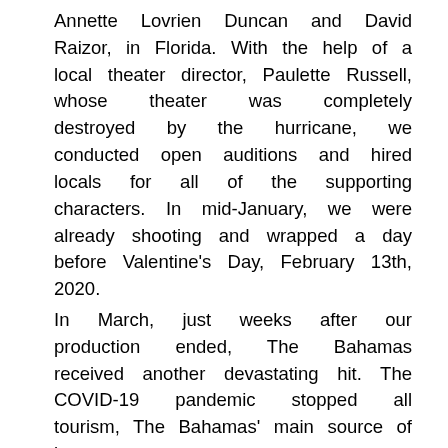Annette Lovrien Duncan and David Raizor, in Florida. With the help of a local theater director, Paulette Russell, whose theater was completely destroyed by the hurricane, we conducted open auditions and hired locals for all of the supporting characters. In mid-January, we were already shooting and wrapped a day before Valentine's Day, February 13th, 2020.
In March, just weeks after our production ended, The Bahamas received another devastating hit. The COVID-19 pandemic stopped all tourism, The Bahamas' main source of income.
We were fortunate and thankful to have had the opportunity to come to Grand